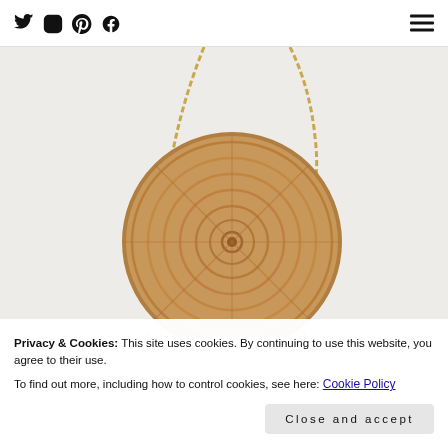Social icons (Twitter, Instagram, Pinterest, Facebook) and hamburger menu
[Figure (photo): A round woven/crocheted straw crossbody bag with a gold chain strap and fringe details, photographed on a light grey background.]
Privacy & Cookies: This site uses cookies. By continuing to use this website, you agree to their use.
To find out more, including how to control cookies, see here: Cookie Policy
Close and accept